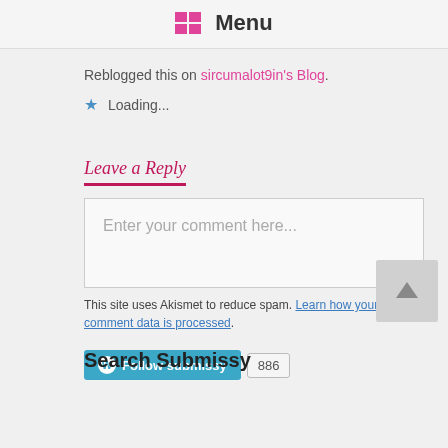Menu
Reblogged this on sircumalot9in's Blog.
Loading...
Leave a Reply
Enter your comment here...
This site uses Akismet to reduce spam. Learn how your comment data is processed.
Follow submissy 886
Search Submissy